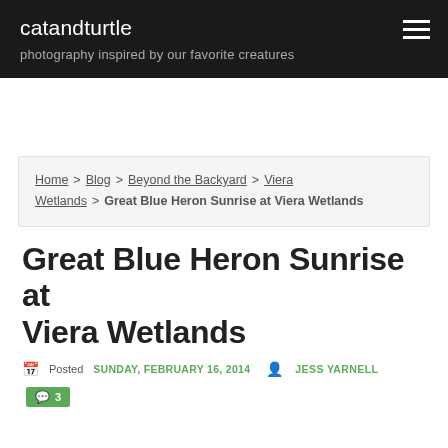catandturtle — photography inspired by our favorite creatures
Home > Blog > Beyond the Backyard > Viera Wetlands > Great Blue Heron Sunrise at Viera Wetlands
Great Blue Heron Sunrise at Viera Wetlands
Posted SUNDAY, FEBRUARY 16, 2014  JESS YARNELL  3